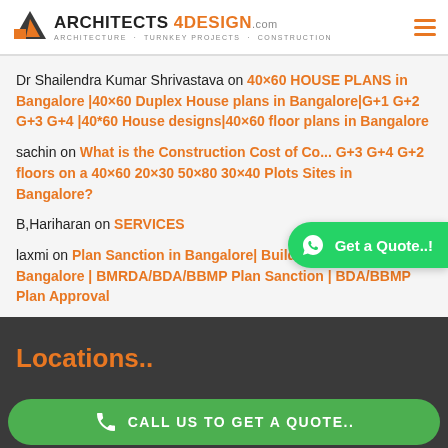ARCHITECTS 4DESIGN .com | ARCHITECTURE · TURNKEY PROJECTS · CONSTRUCTION
Dr Shailendra Kumar Shrivastava on 40×60 HOUSE PLANS in Bangalore |40×60 Duplex House plans in Bangalore|G+1 G+2 G+3 G+4 |40*60 House designs|40×60 floor plans in Bangalore
sachin on What is the Construction Cost of Co... G+3 G+4 G+2 floors on a 40×60 20×30 50×80 30×40 Plots Sites in Bangalore?
B,Hariharan on SERVICES
laxmi on Plan Sanction in Bangalore| Building Plan Approval in Bangalore | BMRDA/BDA/BBMP Plan Sanction | BDA/BBMP Plan Approval
[Figure (other): WhatsApp button: phone icon with 'Get a Quote..!' text on green rounded button]
Locations..
CALL US TO GET A QUOTE..